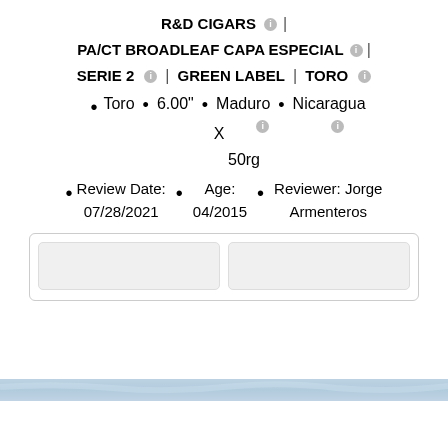R&D CIGARS
PA/CT BROADLEAF CAPA ESPECIAL
SERIE 2 | GREEN LABEL | TORO
Toro • 6.00" • Maduro • Nicaragua X 50rg
Review Date: 07/28/2021 • Age: 04/2015 • Reviewer: Jorge Armenteros
[Figure (screenshot): White box area with two inner rounded rectangle buttons]
[Figure (illustration): Light blue decorative band]
[Figure (logo): Cigars101 logo with tobacconist seal and bullet points: Online Degree with Final Exam & Diploma, 4+ Hours of Deep Learning & New Content]